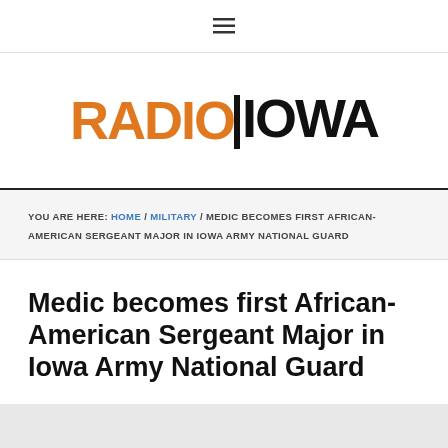≡
[Figure (logo): Radio Iowa logo with RADIO in orange and IOWA in black bold text]
YOU ARE HERE: HOME / MILITARY / MEDIC BECOMES FIRST AFRICAN-AMERICAN SERGEANT MAJOR IN IOWA ARMY NATIONAL GUARD
Medic becomes first African-American Sergeant Major in Iowa Army National Guard